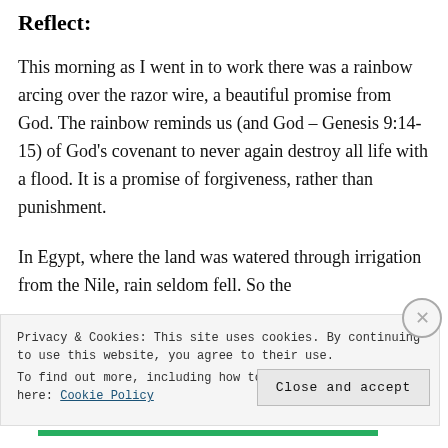Reflect:
This morning as I went in to work there was a rainbow arcing over the razor wire, a beautiful promise from God. The rainbow reminds us (and God – Genesis 9:14-15) of God's covenant to never again destroy all life with a flood. It is a promise of forgiveness, rather than punishment.
In Egypt, where the land was watered through irrigation from the Nile, rain seldom fell. So the
Privacy & Cookies: This site uses cookies. By continuing to use this website, you agree to their use.
To find out more, including how to control cookies, see here: Cookie Policy
Close and accept